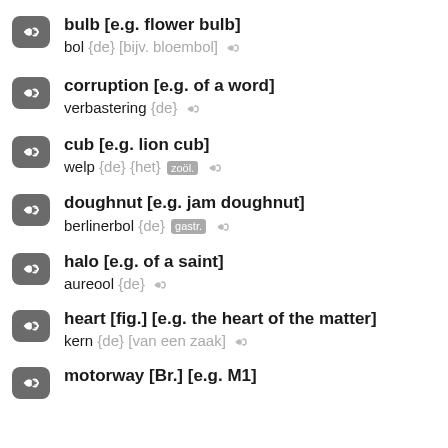bulb [e.g. flower bulb]
bol {de} [bijv. bloembol]
corruption [e.g. of a word]
verbastering {de}
cub [e.g. lion cub]
welp {de} {het} zool.
doughnut [e.g. jam doughnut]
berlinerbol {de} gastr.
halo [e.g. of a saint]
aureool {de}
heart [fig.] [e.g. the heart of the matter]
kern {de} [van een zaak]
motorway [Br.] [e.g. M1]